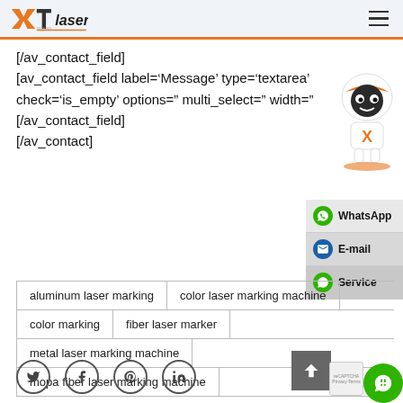XTlaser
[/av_contact_field]
[av_contact_field label='Message' type='textarea'
check='is_empty' options='' multi_select='' width=''
[/av_contact_field]
[/av_contact]
[Figure (illustration): XT Laser robot mascot character in orange and white]
[Figure (infographic): WhatsApp, E-mail, and Service contact side buttons]
aluminum laser marking
color laser marking machine
color marking
fiber laser marker
metal laser marking machine
mopa fiber laser marking machine
[Figure (infographic): Social media share icons: Twitter, Facebook, Pinterest, LinkedIn]
[Figure (infographic): Scroll-to-top button arrow up, reCAPTCHA badge, and green chat bubble]